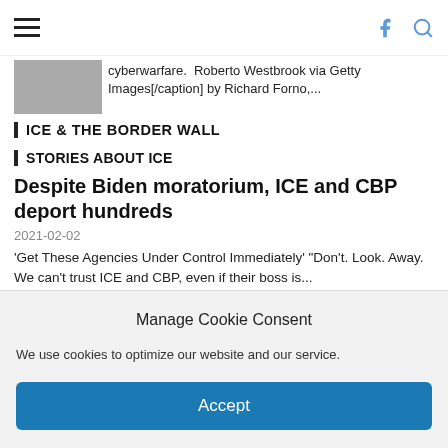Navigation bar with hamburger menu, Facebook icon, and Search icon
cyberwarfare.  Roberto Westbrook via Getty Images[/caption] by Richard Forno,...
ICE & THE BORDER WALL
STORIES ABOUT ICE
Despite Biden moratorium, ICE and CBP deport hundreds
2021-02-02
'Get These Agencies Under Control Immediately' "Don't. Look. Away. We can't trust ICE and CBP, even if their boss is...
Biden ban on new private prison contracts will not
Manage Cookie Consent
We use cookies to optimize our website and our service.
Accept